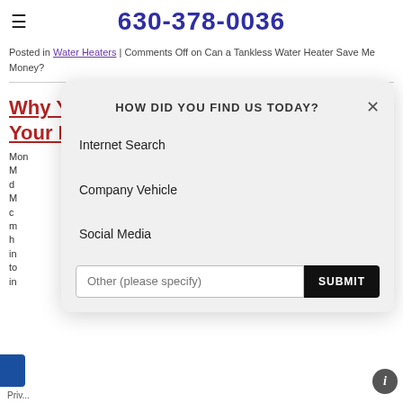630-378-0036
Posted in Water Heaters | Comments Off on Can a Tankless Water Heater Save Me Money?
Why You Should Install a Humidifier for Your Home
Mon... M... d... M... c... m... h... in... to... in...
[Figure (screenshot): A modal dialog box titled 'HOW DID YOU FIND US TODAY?' with options: Internet Search, Company Vehicle, Social Media, and a text input 'Other (please specify)' with a SUBMIT button.]